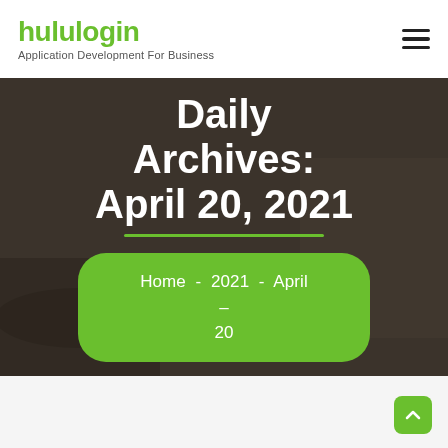hululogin — Application Development For Business
Daily Archives: April 20, 2021
Home  -  2021  -  April  –  20
[Figure (other): Scroll-to-top green button with upward arrow, bottom-right corner]